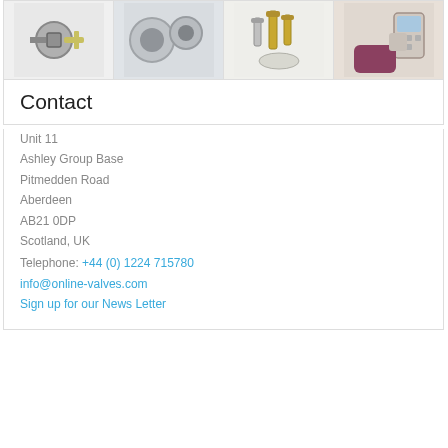[Figure (photo): Four product photos in a row: valve/industrial component, metal pipes/tubes, bolts and fasteners, handheld electronic device being operated]
Contact
Unit 11
Ashley Group Base
Pitmedden Road
Aberdeen
AB21 0DP
Scotland, UK
Telephone: +44 (0) 1224 715780
info@online-valves.com
Sign up for our News Letter